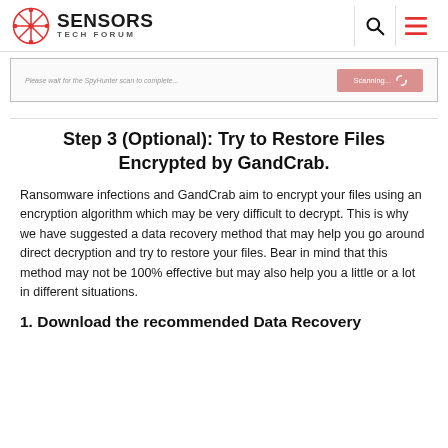Sensors Tech Forum
[Figure (screenshot): SpyHunter scan in progress interface showing 'Please wait for the SpyHunter scan to complete...' and a pink Scanning... button]
Step 3 (Optional): Try to Restore Files Encrypted by GandCrab.
Ransomware infections and GandCrab aim to encrypt your files using an encryption algorithm which may be very difficult to decrypt. This is why we have suggested a data recovery method that may help you go around direct decryption and try to restore your files. Bear in mind that this method may not be 100% effective but may also help you a little or a lot in different situations.
1. Download the recommended Data Recovery